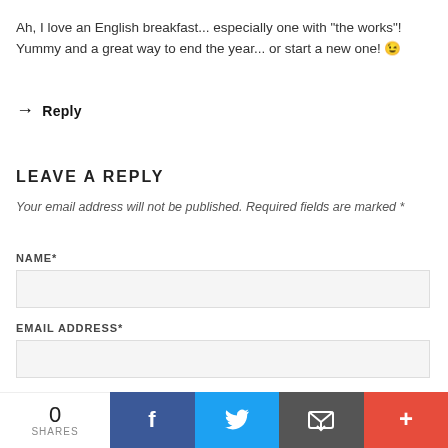Ah, I love an English breakfast... especially one with "the works"! Yummy and a great way to end the year... or start a new one! 😄
→ Reply
LEAVE A REPLY
Your email address will not be published. Required fields are marked *
NAME*
EMAIL ADDRESS*
WEBSITE
0 SHARES